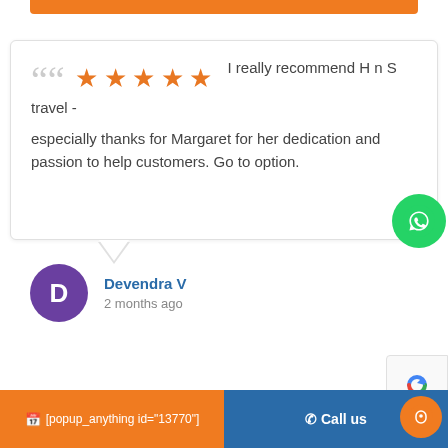[Figure (screenshot): Orange bar at top of page, partial UI element]
I really recommend H n S travel - especially thanks for Margaret for her dedication and passion to help customers. Go to option.
Devendra V
2 months ago
[Figure (logo): WhatsApp green circle button]
[Figure (logo): reCAPTCHA badge]
[popup_anything id="13770"]   Call us